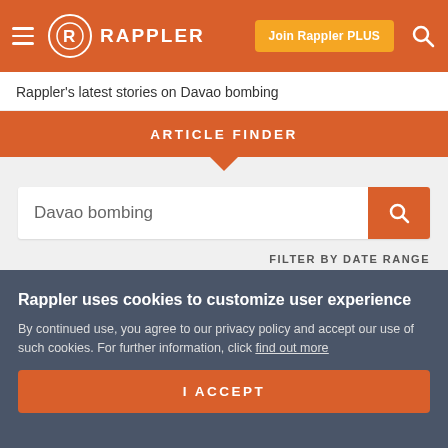RAPPLER – Join Rappler PLUS
Rappler's latest stories on Davao bombing
ARTICLE FINDER
Davao bombing
FILTER BY DATE RANGE
SEARCH
Rappler uses cookies to customize user experience
By continued use, you agree to our privacy policy and accept our use of such cookies. For further information, click find out more
I ACCEPT